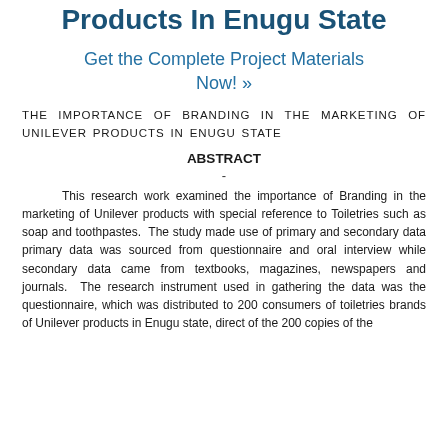Products In Enugu State
Get the Complete Project Materials Now! »
THE IMPORTANCE OF BRANDING IN THE MARKETING OF UNILEVER PRODUCTS IN ENUGU STATE
ABSTRACT
-
This research work examined the importance of Branding in the marketing of Unilever products with special reference to Toiletries such as soap and toothpastes.  The study made use of primary and secondary data primary data was sourced from questionnaire and oral interview while secondary data came from textbooks, magazines, newspapers and journals.  The research instrument used in gathering the data was the questionnaire, which was distributed to 200 consumers of toiletries brands of Unilever products in Enugu state, direct of the 200 copies of the